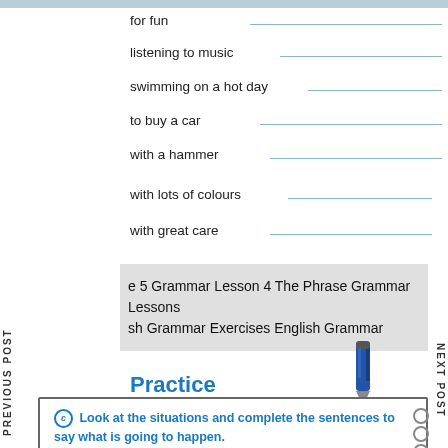for fun
listening to music
swimming on a hot day
to buy a car
with a hammer
with lots of colours
with great care
e 5 Grammar Lesson 4 The Phrase Grammar Lessons sh Grammar Exercises English Grammar
Practice
Look at the situations and complete the sentences to say what is going to happen.
1. Rani has passed the grade four final exams.